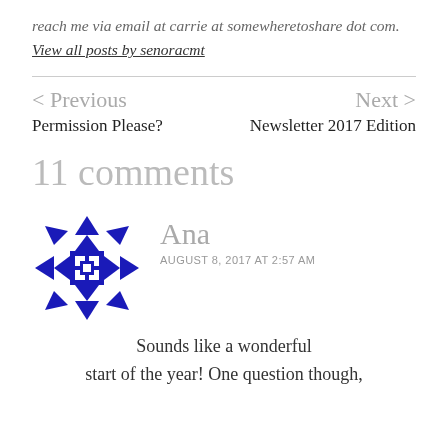reach me via email at carrie at somewheretoshare dot com. View all posts by senoracmt
< Previous
Permission Please?
Next >
Newsletter 2017 Edition
11 comments
[Figure (logo): Blue geometric/quilt-like circular avatar icon for user Ana]
Ana
AUGUST 8, 2017 AT 2:57 AM
Sounds like a wonderful start of the year! One question though,